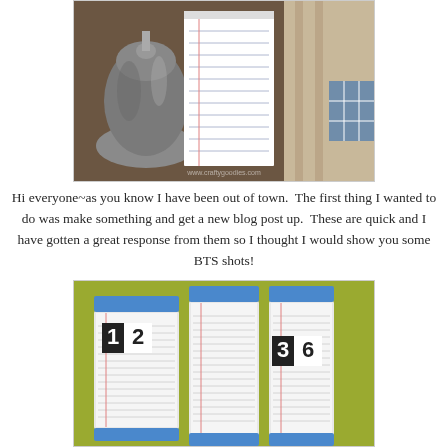[Figure (photo): A close-up photo showing a lined notepad/paper and a metal object (bell or jar), with patterned fabric in the background. Watermark visible: www.craftygoodies.com]
Hi everyone~as you know I have been out of town.  The first thing I wanted to do was make something and get a new blog post up.  These are quick and I have gotten a great response from them so I thought I would show you some BTS shots!
[Figure (photo): Photo of stacks of lined index cards/notepads on a yellow-green surface. Two stacks have number labels: '12' and '36' in bold black on white squares, with blue tape at top and bottom.]